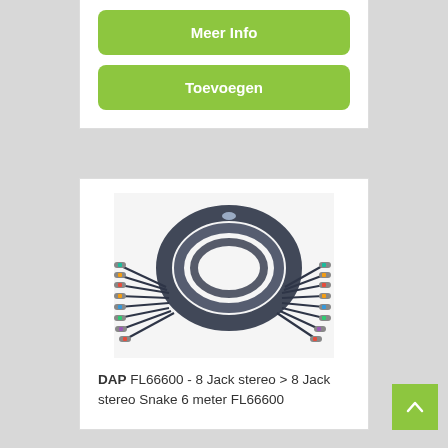Meer Info
Toevoegen
[Figure (photo): Coiled dark grey multi-channel snake cable with 8 stereo jack connectors on each end, fanned out. Color-coded rings on each jack connector.]
DAP FL66600 - 8 Jack stereo > 8 Jack stereo Snake 6 meter FL66600